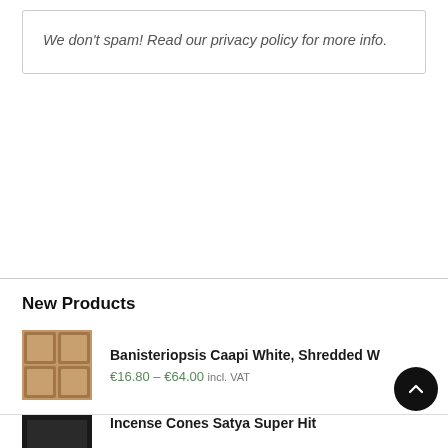We don't spam! Read our privacy policy for more info.
New Products
Banisteriopsis Caapi White, Shredded W…
€16.80 – €64.00 incl. VAT
Incense Cones Satya Super Hit